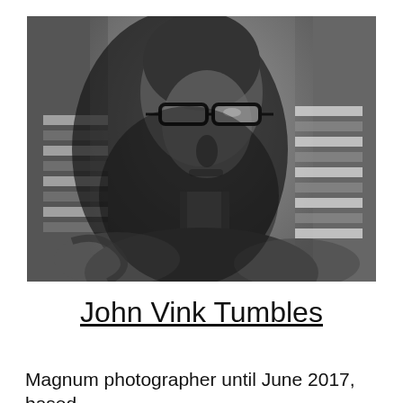[Figure (photo): Black and white close-up portrait of a bald man wearing dark-rimmed glasses, photographed straight-on. His face is dramatically lit from behind or sides, with horizontal window blind shadows visible in the background on both sides. His shoulders and upper chest are visible. The image has a dramatic, high-contrast monochrome look.]
John Vink Tumbles
Magnum photographer until June 2017, based